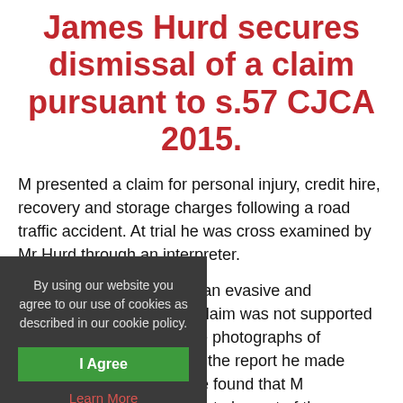James Hurd secures dismissal of a claim pursuant to s.57 CJCA 2015.
M presented a claim for personal injury, credit hire, recovery and storage charges following a road traffic accident. At trial he was cross examined by Mr Hurd through an interpreter.
The Judge found M to be an evasive and difficult [witness. The personal in]jury claim was not supported by [the objective evidence] such as the photographs of the [accident damage, the medical] records or the report he made to [the police. The Ju]dge therefore found that M had [fraudulently exaggerated/mis]missed that element of the [claim...]
[The Judge also dis]issed the storage claim as, given [the circumstances of t]he vehicle, it could have been